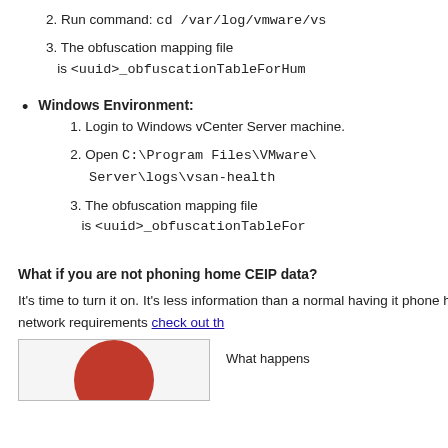2. Run command: cd /var/log/vmware/vs
3. The obfuscation mapping file is <uuid>_obfuscationTableForHum
Windows Environment:
1. Login to Windows vCenter Server machine.
2. Open C:\Program Files\VMware\ Server\logs\vsan-health
3. The obfuscation mapping file is <uuid>_obfuscationTableFor
What if you are not phoning home CEIP data?
It’s time to turn it on. It’s less information than a normal having it phone home regularly you are in a better situati need it. For setup and network requirements check out th
[Figure (illustration): Red circle illustration partially visible at bottom of a bordered box, with text 'What happens' to the right]